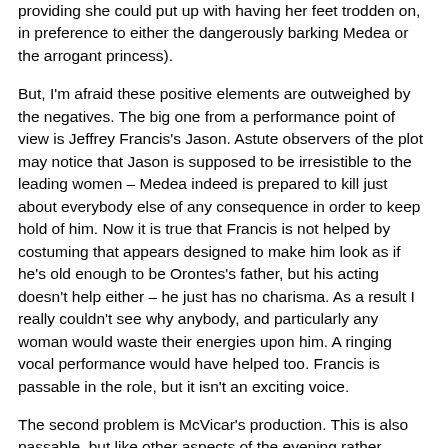providing she could put up with having her feet trodden on, in preference to either the dangerously barking Medea or the arrogant princess).
But, I'm afraid these positive elements are outweighed by the negatives. The big one from a performance point of view is Jeffrey Francis's Jason. Astute observers of the plot may notice that Jason is supposed to be irresistible to the leading women – Medea indeed is prepared to kill just about everybody else of any consequence in order to keep hold of him. Now it is true that Francis is not helped by costuming that appears designed to make him look as if he's old enough to be Orontes's father, but his acting doesn't help either – he just has no charisma. As a result I really couldn't see why anybody, and particularly any woman would waste their energies upon him. A ringing vocal performance would have helped too. Francis is passable in the role, but it isn't an exciting voice.
The second problem is McVicar's production. This is also passable, but like other aspects of the evening rather uninspired. He's updated this Greek tragedy to what looked to be like World War II-era settings, and whether that was a good idea...